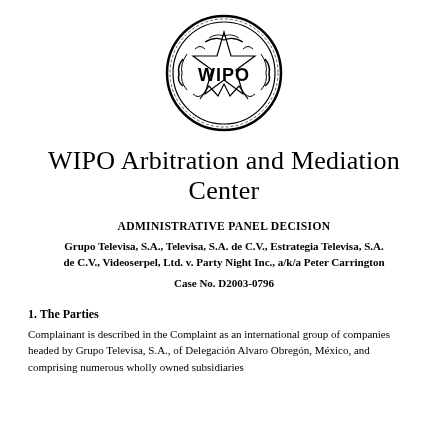[Figure (logo): WIPO circular seal/logo with the text 'WIPO' in the center surrounded by decorative imagery including a star and serpent motifs, enclosed in a circular border]
WIPO Arbitration and Mediation Center
ADMINISTRATIVE PANEL DECISION
Grupo Televisa, S.A., Televisa, S.A. de C.V., Estrategia Televisa, S.A. de C.V., Videoserpel, Ltd. v. Party Night Inc., a/k/a Peter Carrington
Case No. D2003-0796
1. The Parties
Complainant is described in the Complaint as an international group of companies headed by Grupo Televisa, S.A., of Delegación Alvaro Obregón, México, and comprising numerous wholly owned subsidiaries